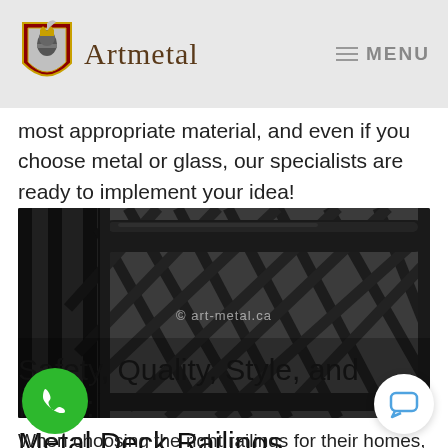Artmetal  MENU
most appropriate material, and even if you choose metal or glass, our specialists are ready to implement your idea!
[Figure (photo): Close-up photo of black metal deck railing with diamond/X-pattern balusters and a rounded handrail on top, with watermark '© art-metal.ca']
Safety, Quality, Style, and Price: Metal Deck Railings
When choosing the right railings for their homes, these are the